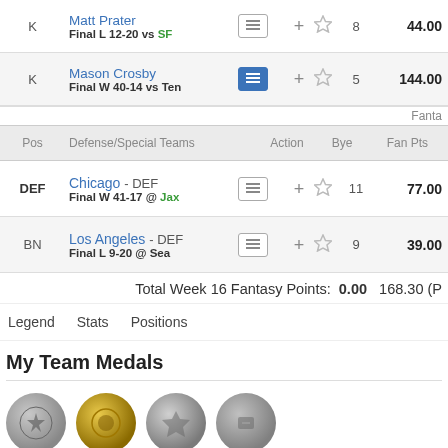| Pos | Player | Action | Bye | Fan Pts |
| --- | --- | --- | --- | --- |
| K | Matt Prater
Final L 12-20 vs SF |  | 8 | 44.00 |
| K | Mason Crosby
Final W 40-14 vs Ten |  | 5 | 144.00 |
Fanta
| Pos | Defense/Special Teams | Action | Bye | Fan Pts |
| --- | --- | --- | --- | --- |
| DEF | Chicago - DEF
Final W 41-17 @ Jax |  | 11 | 77.00 |
| BN | Los Angeles - DEF
Final L 9-20 @ Sea |  | 9 | 39.00 |
Total Week 16 Fantasy Points: 0.00  168.30 (P
Legend
Stats
Positions
My Team Medals